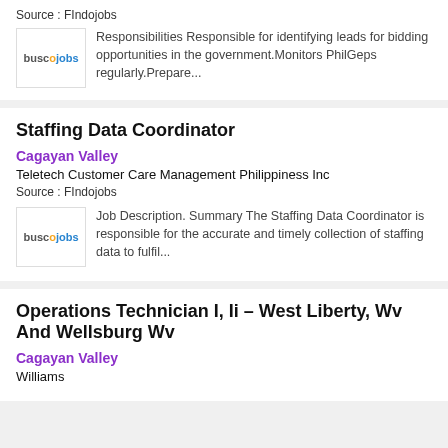Source : Findojobs
Responsibilities Responsible for identifying leads for bidding opportunities in the government.Monitors PhilGeps regularly.Prepare...
Staffing Data Coordinator
Cagayan Valley
Teletech Customer Care Management Philippiness Inc
Source : Findojobs
Job Description. Summary The Staffing Data Coordinator is responsible for the accurate and timely collection of staffing data to fulfil...
Operations Technician I, Ii – West Liberty, Wv And Wellsburg Wv
Cagayan Valley
Williams